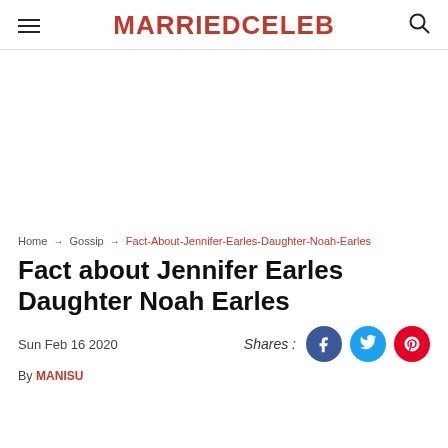MARRIEDCELEB
[Figure (other): Advertisement area (blank white space)]
Home → Gossip → Fact-About-Jennifer-Earles-Daughter-Noah-Earles
Fact about Jennifer Earles Daughter Noah Earles
Sun Feb 16 2020
Shares:
By MANISU